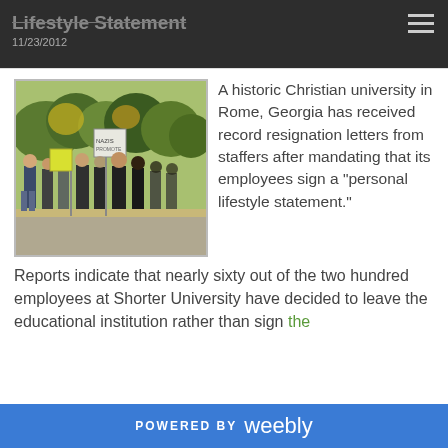Lifestyle Statement
11/23/2012
[Figure (photo): A group of protesters standing on a sidewalk outdoors, holding signs including one reading 'NAZIS', surrounded by autumn trees.]
A historic Christian university in Rome, Georgia has received record resignation letters from staffers after mandating that its employees sign a “personal lifestyle statement.”
Reports indicate that nearly sixty out of the two hundred employees at Shorter University have decided to leave the educational institution rather than sign the
POWERED BY weebly